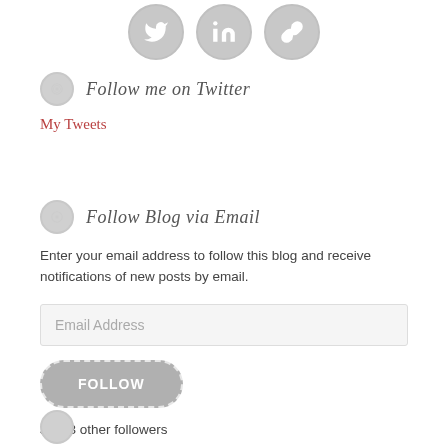[Figure (illustration): Three circular social media icon buttons (Twitter bird, LinkedIn, chain/link) in gray at the top of the page]
Follow me on Twitter
My Tweets
Follow Blog via Email
Enter your email address to follow this blog and receive notifications of new posts by email.
Email Address
FOLLOW
Join 3 other followers
[Figure (illustration): Partial view of another widget section at the bottom, showing a gray circular icon]